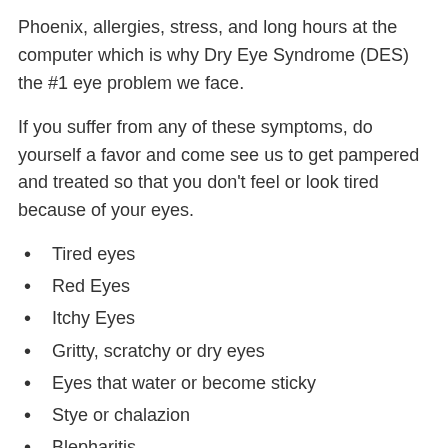Phoenix, allergies, stress, and long hours at the computer which is why Dry Eye Syndrome (DES) the #1 eye problem we face.
If you suffer from any of these symptoms, do yourself a favor and come see us to get pampered and treated so that you don't feel or look tired because of your eyes.
Tired eyes
Red Eyes
Itchy Eyes
Gritty, scratchy or dry eyes
Eyes that water or become sticky
Stye or chalazion
Blepharitis
Fluctuating vision that goes in and out of focus
Improving eye moisture is also important for